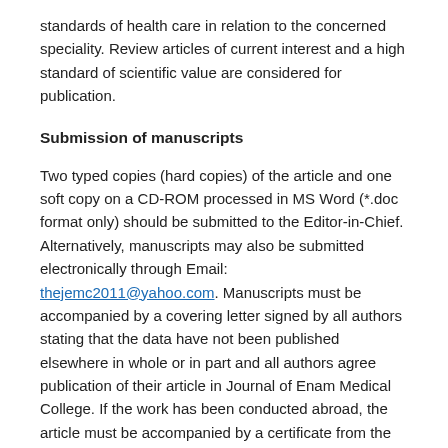standards of health care in relation to the concerned speciality. Review articles of current interest and a high standard of scientific value are considered for publication.
Submission of manuscripts
Two typed copies (hard copies) of the article and one soft copy on a CD-ROM processed in MS Word (*.doc format only) should be submitted to the Editor-in-Chief. Alternatively, manuscripts may also be submitted electronically through Email: thejemc2011@yahoo.com. Manuscripts must be accompanied by a covering letter signed by all authors stating that the data have not been published elsewhere in whole or in part and all authors agree publication of their article in Journal of Enam Medical College. If the work has been conducted abroad, the article must be accompanied by a certificate from the head of the institute where the work has been done. Authors need not to pay for publication.